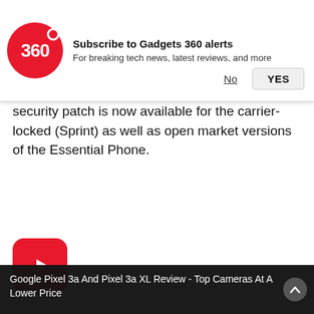[Figure (logo): Gadgets 360 red circular logo with '360' text and notification subscription prompt with 'No' and 'YES' buttons]
security patch is now available for the carrier-locked (Sprint) as well as open market versions of the Essential Phone.
[Figure (logo): YouTube red rounded square play button icon]
Google Pixel 3a And Pixel 3a XL Review - Top Cameras At A Lower Price